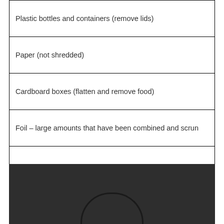| Plastic bottles and containers (remove lids) |
| Paper (not shredded) |
| Cardboard boxes (flatten and remove food) |
| Foil – large amounts that have been combined and scrun |
|  |
|  |
|  |
|  |
[Figure (photo): Dark background image showing the top portion of a circular arc shape, resembling a recycling bin or container lid, against a dark grey/charcoal background.]